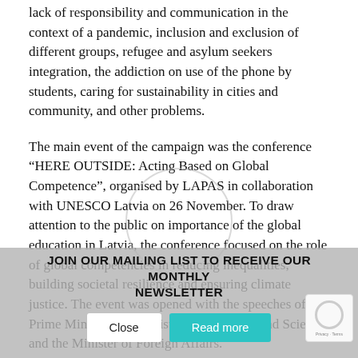lack of responsibility and communication in the context of a pandemic, inclusion and exclusion of different groups, refugee and asylum seekers integration, the addiction on use of the phone by students, caring for sustainability in cities and community, and other problems.
The main event of the campaign was the conference “HERE OUTSIDE: Acting Based on Global Competence”, organised by LAPAS in collaboration with UNESCO Latvia on 26 November. To draw attention to the public on importance of the global education in Latvia, the conference focused on the role of global competencies in reducing inequalities, building societal resilience and ensuring climate justice. The event was opened with the speeches of the Prime Minister, the Minister of Education and Science and the Minister of Foreign Affairs.
In addition to the regional events, informative 17 days social media campaign on LAPAS Facebook, Instagram and Twitter accounts were held. Each day was devoted to one of the SDGs where different stakeholders – LAPAS friends, participated
JOIN OUR MAILING LIST TO RECEIVE OUR MONTHLY NEWSLETTER